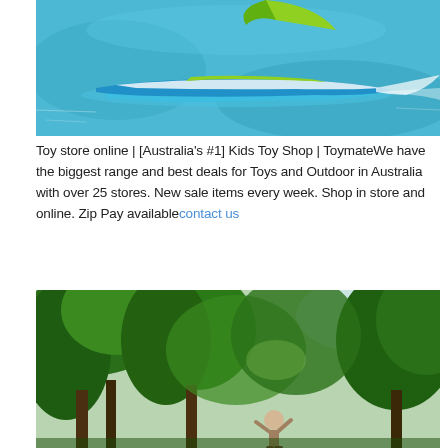[Figure (photo): Aerial view of a racing boat/speedboat on turquoise-blue water, with a colorful kite or sail visible at the top]
Toy store online | [Australia's #1] Kids Toy Shop | ToymateWe have the biggest range and best deals for Toys and Outdoor in Australia with over 25 stores. New sale items every week. Shop in store and online. Zip Pay availablecontact us
[Figure (photo): Person in a forest or park among tall green trees, appearing to throw or reach upward]